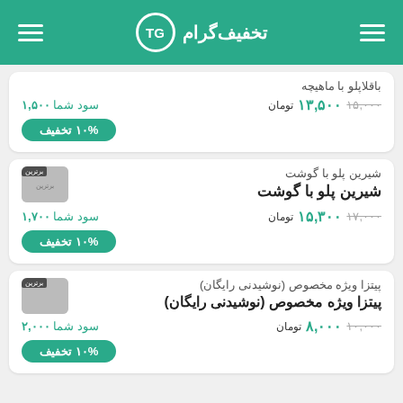تخفیف‌گرام TG
باقلاپلو با ماهیچه - سود شما ۱,۵۰۰ - ۱۳,۵۰۰ (۱۵,۰۰۰ تومان) - ۱۰% تخفیف
شیرین پلو با گوشت - سود شما ۱,۷۰۰ - ۱۵,۳۰۰ (۱۷,۰۰۰ تومان) - ۱۰% تخفیف
پیتزا ویژه مخصوص (نوشیدنی رایگان) - سود شما ۲,۰۰۰ - ۸,۰۰۰ (۱۰,۰۰۰ تومان)